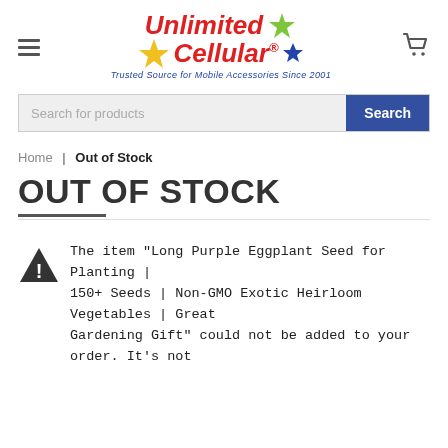[Figure (logo): Unlimited Cellular logo with stars and tagline 'Trusted Source for Mobile Accessories Since 2001']
Search for products
Home | Out of Stock
OUT OF STOCK
The item "Long Purple Eggplant Seed for Planting | 150+ Seeds | Non-GMO Exotic Heirloom Vegetables | Great Gardening Gift" could not be added to your order. It's not